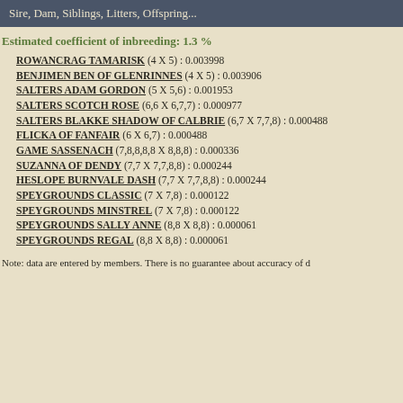Sire, Dam, Siblings, Litters, Offspring...
Estimated coefficient of inbreeding: 1.3 %
ROWANCRAG TAMARISK (4 X 5) : 0.003998
BENJIMEN BEN OF GLENRINNES (4 X 5) : 0.003906
SALTERS ADAM GORDON (5 X 5,6) : 0.001953
SALTERS SCOTCH ROSE (6,6 X 6,7,7) : 0.000977
SALTERS BLAKKE SHADOW OF CALBRIE (6,7 X 7,7,8) : 0.000488
FLICKA OF FANFAIR (6 X 6,7) : 0.000488
GAME SASSENACH (7,8,8,8,8 X 8,8,8) : 0.000336
SUZANNA OF DENDY (7,7 X 7,7,8,8) : 0.000244
HESLOPE BURNVALE DASH (7,7 X 7,7,8,8) : 0.000244
SPEYGROUNDS CLASSIC (7 X 7,8) : 0.000122
SPEYGROUNDS MINSTREL (7 X 7,8) : 0.000122
SPEYGROUNDS SALLY ANNE (8,8 X 8,8) : 0.000061
SPEYGROUNDS REGAL (8,8 X 8,8) : 0.000061
Note: data are entered by members. There is no guarantee about accuracy of d